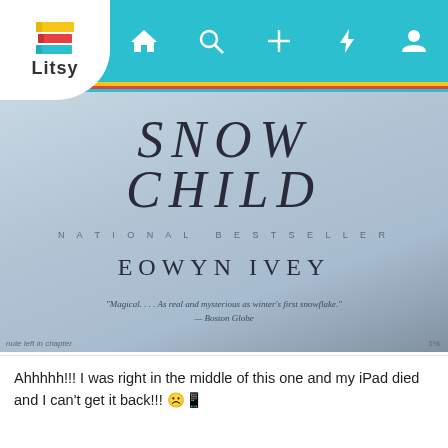[Figure (screenshot): Litsy app screenshot showing a book cover of 'Snow Child' by Eowyn Ivey, National Bestseller, with a quote from Boston Globe: 'Magical.... As real and mysterious as winter's first snowflake.' The app has a teal navigation bar with home, search, add, activity, and profile icons, and a Litsy logo in the top left.]
Ahhhhh!!! I was right in the middle of this one and my iPad died and I can't get it back!!! ☹️📱